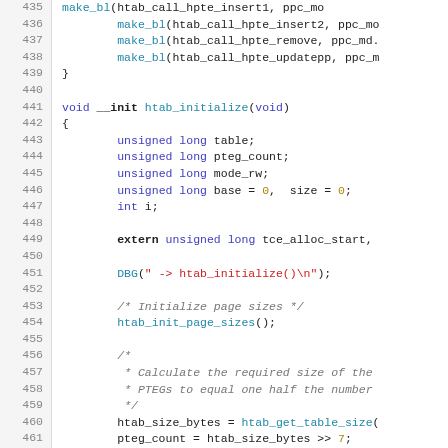[Figure (screenshot): Source code listing showing C code for htab_initialize function, lines 435-464, with syntax highlighting: blue keywords, teal function names, red strings, gold numeric literals, gray italic comments.]